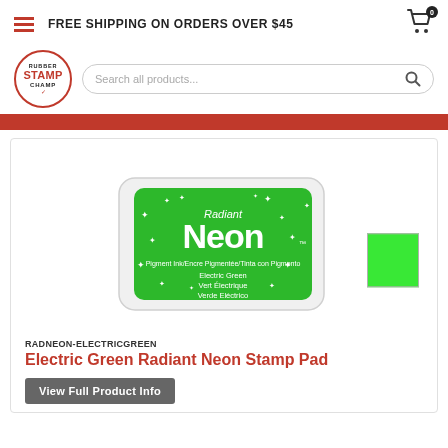FREE SHIPPING ON ORDERS OVER $45
[Figure (logo): Rubber Stamp Champ logo — circular red-bordered badge with 'RUBBER STAMP CHAMP' text]
[Figure (screenshot): Search bar with placeholder text 'Search all products...' and magnifying glass icon]
[Figure (photo): Electric Green Radiant Neon Stamp Pad product image with neon green ink pad and color swatch]
RADNEON-ELECTRICGREEN
Electric Green Radiant Neon Stamp Pad
View Full Product Info